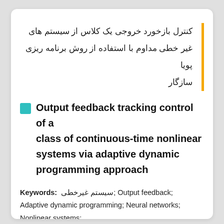کنترل بازخورد خروجی یک کلاس از سیستم های غیر خطی مداوم با استفاده از روش برنامه ریزی پویا سازگار
Output feedback tracking control of a class of continuous-time nonlinear systems via adaptive dynamic programming approach
Keywords: سیستم غیرخطی; Output feedback; Adaptive dynamic programming; Neural networks; Nonlinear systems;